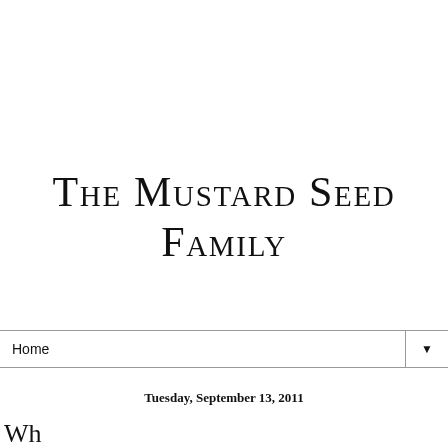The Mustard Seed Family
Home ▼
Tuesday, September 13, 2011
Wh...